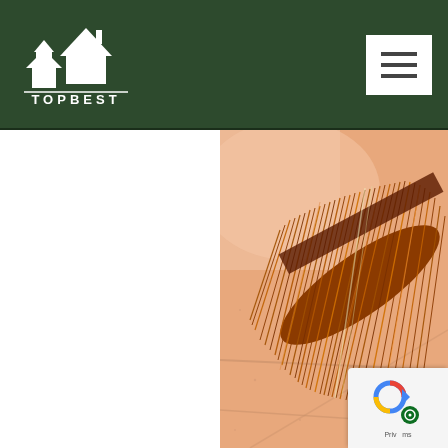[Figure (logo): TOPBEST logo with house/roof icon on dark green header background, with hamburger menu button on the right]
[Figure (photo): Close-up photo of a wire brush with reddish-brown bristles against a light peach/salmon colored tile surface with grout lines]